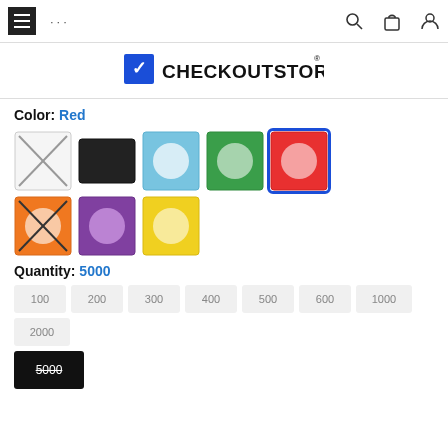Navigation bar with hamburger menu, dots, search, bag, and user icons
[Figure (logo): CheckOutStore logo with checkmark icon and registered trademark symbol]
Color: Red
[Figure (illustration): Color swatches: White (crossed out), Black, Blue, Green, Red (selected with blue border), Orange (crossed out), Purple, Yellow]
Quantity: 5000
100  200  300  400  500  600  1000  2000
5000 (selected, black background, strikethrough)